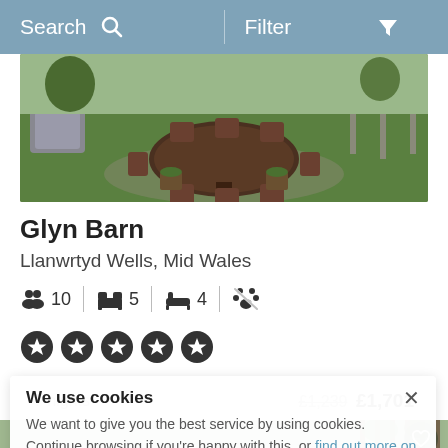Search  Filter
[Figure (photo): Aerial view of outdoor garden patio with wooden table, chairs, and green lawn]
Glyn Barn
Llanwrtyd Wells, Mid Wales
10 guests | 5 bedrooms | 4 bathrooms | pets allowed
★★★★★ (5 stars)
7 nights  £1,239  £1,701
We use cookies
We want to give you the best service by using cookies. Continue browsing if you're happy with this, or find out more on our cookies.
[Figure (photo): Garden/outdoor area with wooden fence and greenery, partial view]